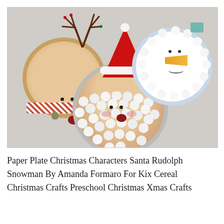[Figure (photo): Three paper plate Christmas characters: Rudolph the reindeer (left) with pipe cleaner antlers, red pom-pom nose, scarf and bell; Santa Claus (center) with red felt hat and white pom-pom beard; Snowman (right) with cotton ball border, carrot nose, and teal hat, all on a gray background.]
Paper Plate Christmas Characters Santa Rudolph Snowman By Amanda Formaro For Kix Cereal Christmas Crafts Preschool Christmas Xmas Crafts